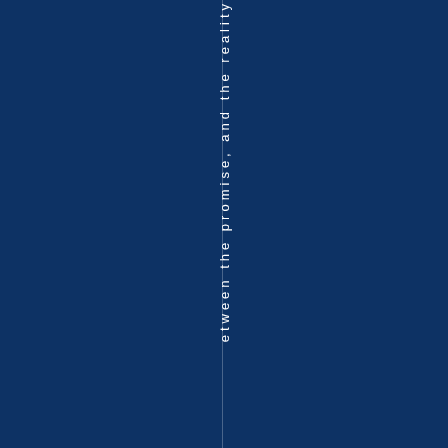between the promise, and the reality